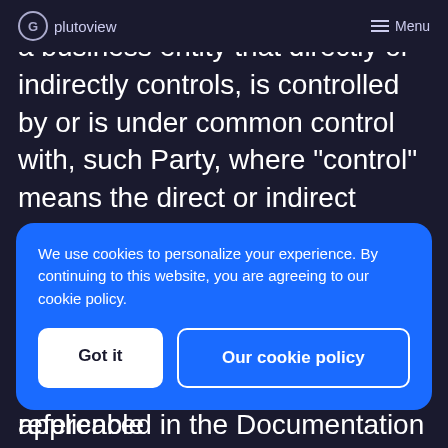plutoview | Menu
a business entity that directly or indirectly controls, is controlled by or is under common control with, such Party, where “control” means the direct or indirect ownership of more than 50% of the voting securities of a business entity. “API” means an application programming interface referenced in the Documentation that Plutoview maintains
We use cookies to personalize your experience. By continuing to this website, you are agreeing to our cookie policy.
Got it
Our cookie policy
regulations or orders that are applicable